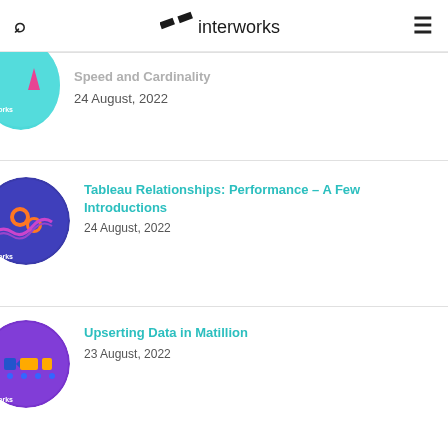interworks
Speed and Cardinality
24 August, 2022
Tableau Relationships: Performance – A Few Introductions
24 August, 2022
Upserting Data in Matillion
23 August, 2022